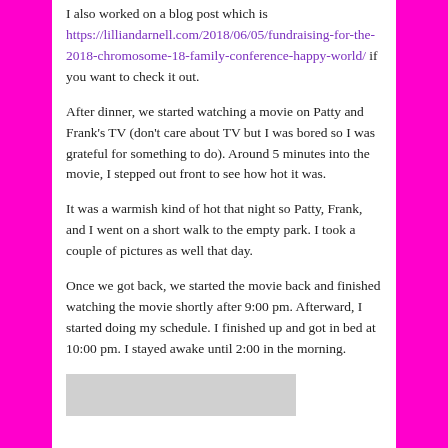I also worked on a blog post which is https://lilliandarnell.com/2018/06/05/fundraising-for-the-2018-chromosome-18-family-conference-happy-world/ if you want to check it out.
After dinner, we started watching a movie on Patty and Frank's TV (don't care about TV but I was bored so I was grateful for something to do). Around 5 minutes into the movie, I stepped out front to see how hot it was.
It was a warmish kind of hot that night so Patty, Frank, and I went on a short walk to the empty park. I took a couple of pictures as well that day.
Once we got back, we started the movie back and finished watching the movie shortly after 9:00 pm. Afterward, I started doing my schedule. I finished up and got in bed at 10:00 pm. I stayed awake until 2:00 in the morning.
[Figure (photo): Partially visible gray image placeholder at the bottom of the page]